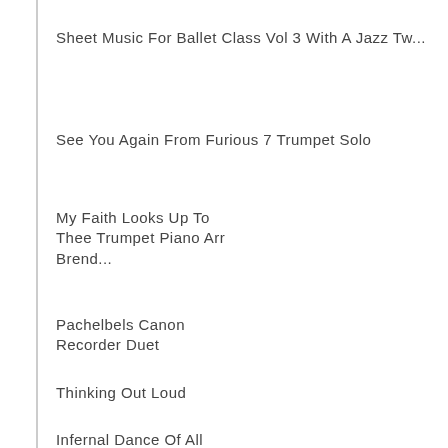Sheet Music For Ballet Class Vol 3 With A Jazz Tw...
See You Again From Furious 7 Trumpet Solo
My Faith Looks Up To Thee Trumpet Piano Arr Brend...
Pachelbels Canon Recorder Duet
Thinking Out Loud
Infernal Dance Of All Kastcheis Subjects
Old And Wise Sab Choir With Piano And Sax